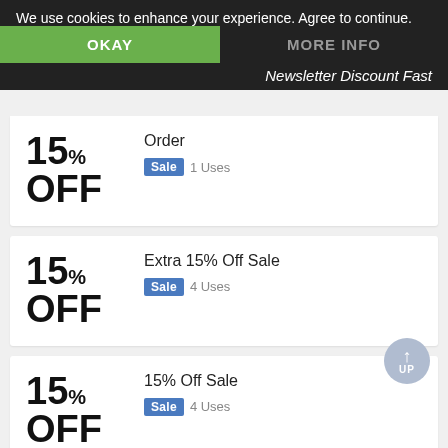We use cookies to enhance your experience. Agree to continue.
OKAY
MORE INFO
Newsletter Discount Fast
15% OFF
Order
Sale  1 Uses
15% OFF
Extra 15% Off Sale
Sale  4 Uses
15% OFF
15% Off Sale
Sale  4 Uses
20% Off Deal
30%